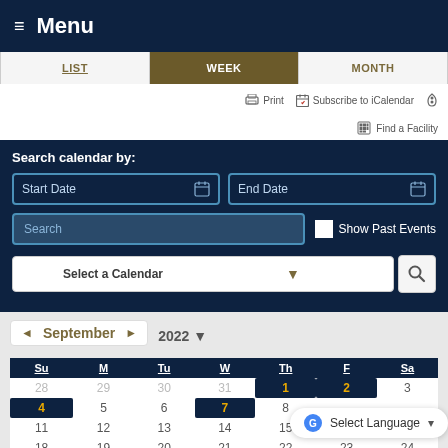≡ Menu
List | Week | Month
🖨 Print  📅 Subscribe to iCalendar  🔗
⊞ Find a Facility
Search calendar by:
Start Date | End Date | Search | Show Past Events | Select a Calendar
[Figure (screenshot): Calendar widget showing September 2022. Days of week header: Su M Tu W Th F Sa. Dates shown: 28 29 30 31 (prev month greyed), 1 2 (highlighted navy/gold), 3, 4 7 (highlighted), 5 6 8, 11 12 13 14 15 16 17, 18 19 20 21 22 23 24]
Select Language